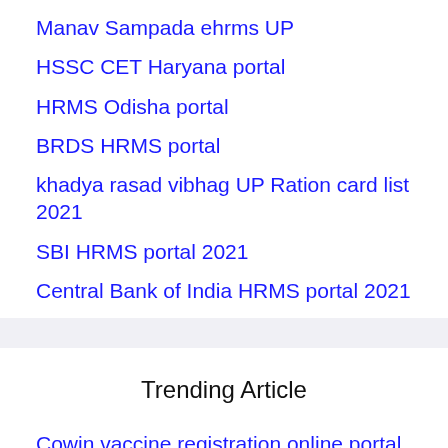Manav Sampada ehrms UP
HSSC CET Haryana portal
HRMS Odisha portal
BRDS HRMS portal
khadya rasad vibhag UP Ration card list 2021
SBI HRMS portal 2021
Central Bank of India HRMS portal 2021
Trending Article
Cowin vaccine registration online portal
Covid-19 Pariwar Aarthik Sahayata Yojana-Delhi
How to download e Aadhaar Card online